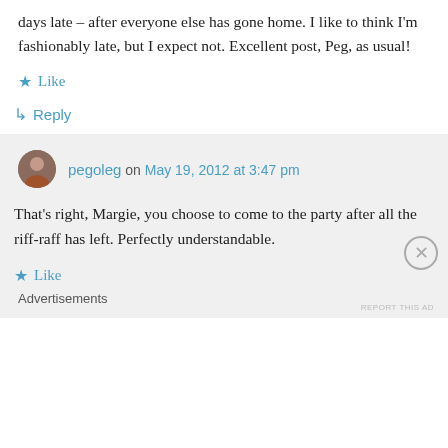days late – after everyone else has gone home. I like to think I'm fashionably late, but I expect not. Excellent post, Peg, as usual!
★ Like
↳ Reply
pegoleg on May 19, 2012 at 3:47 pm
That's right, Margie, you choose to come to the party after all the riff-raff has left. Perfectly understandable.
★ Like
Advertisements